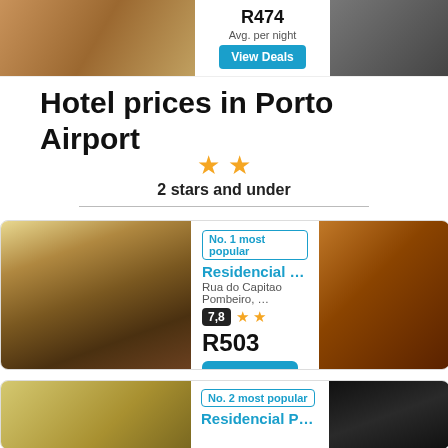[Figure (screenshot): Top hotel listing strip with left room photo, price info, View Deals button, and right building photo]
Hotel prices in Porto Airport
2 stars and under
[Figure (screenshot): Hotel card: No. 1 most popular — Residencial Vale F..., Rua do Capitao Pombeiro, ..., rating 7.8, 2 stars, R503, View Deal button]
[Figure (screenshot): Hotel card: No. 2 most popular — Residencial Porto ...]